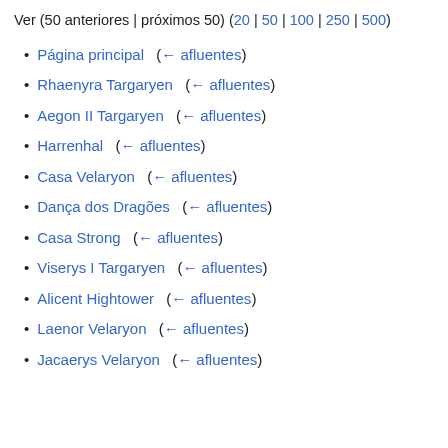Ver (50 anteriores | próximos 50) (20 | 50 | 100 | 250 | 500)
Página principal  (← afluentes)
Rhaenyra Targaryen  (← afluentes)
Aegon II Targaryen  (← afluentes)
Harrenhal  (← afluentes)
Casa Velaryon  (← afluentes)
Dança dos Dragões  (← afluentes)
Casa Strong  (← afluentes)
Viserys I Targaryen  (← afluentes)
Alicent Hightower  (← afluentes)
Laenor Velaryon  (← afluentes)
Jacaerys Velaryon  (← afluentes)